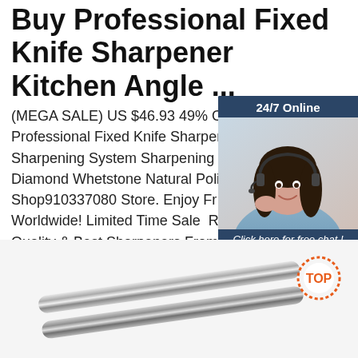Buy Professional Fixed Knife Sharpener Kitchen Angle ...
(MEGA SALE) US $46.93 49% OFF Buy Professional Fixed Knife Sharpener Kitchen Sharpening System Sharpening Stone B... Diamond Whetstone Natural Polishing F... Vendor Shop910337080 Store. Enjoy Free Shipping Worldwide! Limited Time Sale Easy Return. Shop Quality & Best Sharpeners... From China Sharpeners Suppliers.
[Figure (other): Get Price green button]
[Figure (other): 24/7 Online chat widget with a woman wearing a headset, text 'Click here for free chat!' and an orange QUOTATION button]
[Figure (other): Bottom section showing a knife sharpener product (metal rods) and a TOP badge in orange on the right]